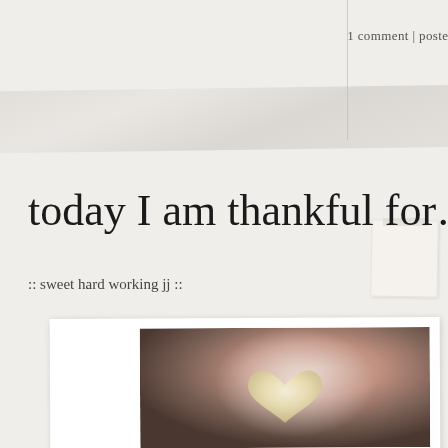1 comment | posted in One Day
today I am thankful for…
:: sweet hard working jj ::
[Figure (photo): Framed photograph showing a child holding a heart-shaped candy or cookie, with warm brown tones and soft lighting]